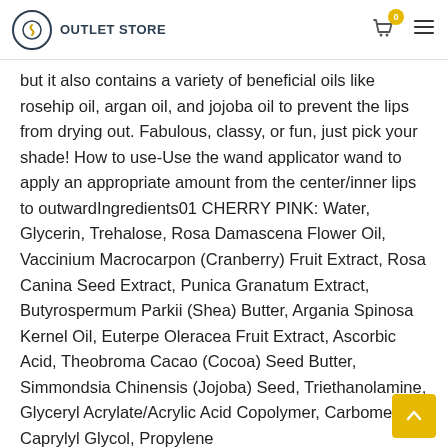OUTLET STORE
but it also contains a variety of beneficial oils like rosehip oil, argan oil, and jojoba oil to prevent the lips from drying out. Fabulous, classy, or fun, just pick your shade! How to use-Use the wand applicator wand to apply an appropriate amount from the center/inner lips to outwardIngredients01 CHERRY PINK: Water, Glycerin, Trehalose, Rosa Damascena Flower Oil, Vaccinium Macrocarpon (Cranberry) Fruit Extract, Rosa Canina Seed Extract, Punica Granatum Extract, Butyrospermum Parkii (Shea) Butter, Argania Spinosa Kernel Oil, Euterpe Oleracea Fruit Extract, Ascorbic Acid, Theobroma Cacao (Cocoa) Seed Butter, Simmondsia Chinensis (Jojoba) Seed, Triethanolamine, Glyceryl Acrylate/Acrylic Acid Copolymer, Carbomer, Caprylyl Glycol, Propylene